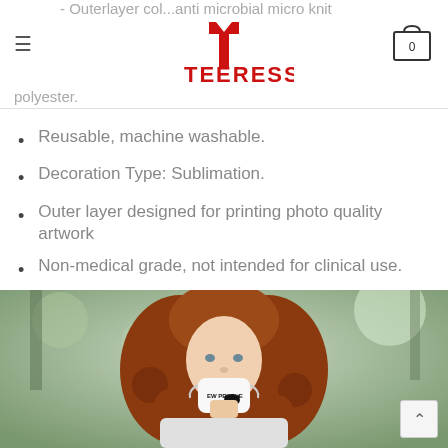TEERESS (logo with hamburger menu and cart showing 0)
- Outerlayer col...anti microbial micro knit polyester.
Reusable, machine washable.
Decoration Type: Sublimation.
Outer layer designed for printing photo quality artwork
Non-medical grade, not intended for clinical use.
[Figure (photo): Young woman with curly red hair wearing a white face mask that reads 'EW PEOPLE' with a cat/bat graphic, photographed outdoors with green blurred background.]